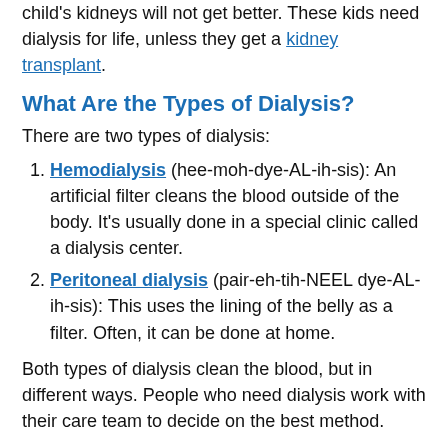child's kidneys will not get better. These kids need dialysis for life, unless they get a kidney transplant.
What Are the Types of Dialysis?
There are two types of dialysis:
Hemodialysis (hee-moh-dye-AL-ih-sis): An artificial filter cleans the blood outside of the body. It's usually done in a special clinic called a dialysis center.
Peritoneal dialysis (pair-eh-tih-NEEL dye-AL-ih-sis): This uses the lining of the belly as a filter. Often, it can be done at home.
Both types of dialysis clean the blood, but in different ways. People who need dialysis work with their care team to decide on the best method.